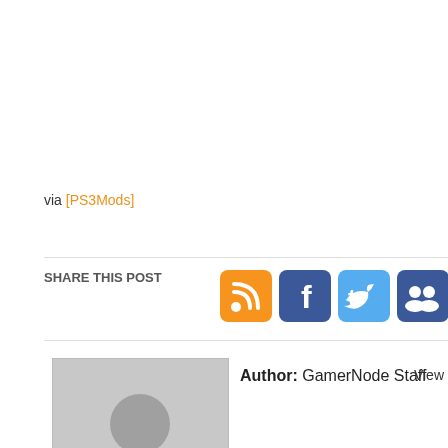via [PS3Mods]
SHARE THIS POST
[Figure (other): Social share icons: RSS (orange), Facebook (blue), Twitter (light blue), MySpace/Groups (dark blue), Google+ (dark blue), Reddit (light blue)]
Author: GamerNode Staff
View
[Figure (photo): Default grey avatar placeholder with silhouette of a person]